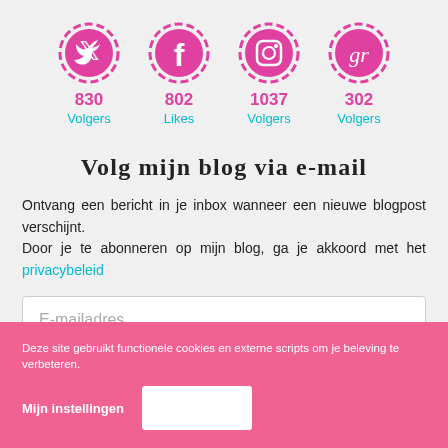[Figure (infographic): Four social media icons (Twitter, Facebook, Instagram, Goodreads) with follower/like counts: Twitter 830 Volgers, Facebook 802 Likes, Instagram 1037 Volgers, Goodreads 302 Volgers]
Volg mijn blog via e-mail
Ontvang een bericht in je inbox wanneer een nieuwe blogpost verschijnt. Door je te abonneren op mijn blog, ga je akkoord met het privacybeleid
E-mailadres
Deze site gebruikt functionele cookies en externe scripts om je beleving te verbeteren.